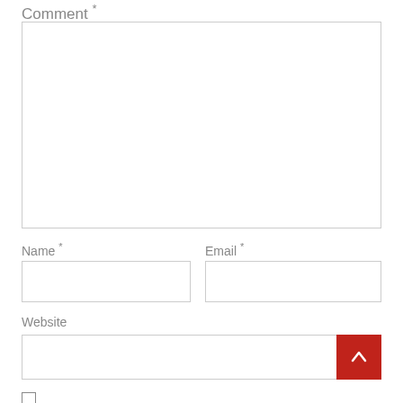Comment *
[Figure (screenshot): Large empty comment textarea input box with resize handle at bottom right]
Name *
Email *
[Figure (screenshot): Empty Name text input field]
[Figure (screenshot): Empty Email text input field]
Website
[Figure (screenshot): Empty Website text input field with red scroll-to-top button overlapping bottom right]
[Figure (screenshot): Unchecked checkbox at bottom of form]